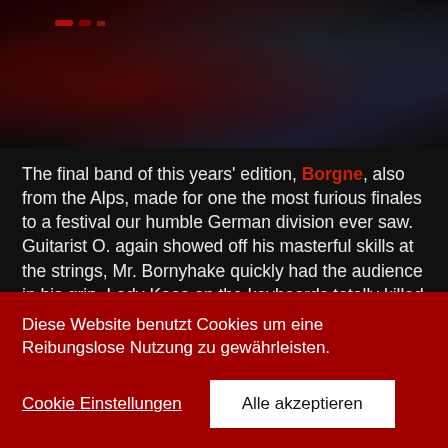[Figure (photo): Dark concert/band photo with red stage lighting and a performer, dark background with atmospheric red and blue tones]
The final band of this years' edition, Borgne, also from the Alps, made for one the most furious finales to a festival our humble German division ever saw. Guitarist O. again showed off his masterful skills at the strings, Mr. Bornyhake quickly had the audience in his grip, Lady Kaos on the keyboards totally killed it as well, accompanying the furious and harsh sounds of the rest of the band, and the great performance by the Swiss' was just breathtaking und powerful. They presented a great mixture of their discography and distinguished themselves with their
Diese Website benutzt Cookies um eine Reibungslose Nutzung zu gewährleisten.
Cookie Einstellungen
Alle akzeptieren